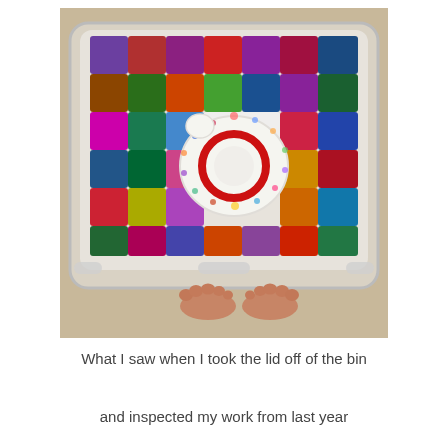[Figure (photo): Overhead view of a clear plastic storage bin containing a colorful crocheted patchwork blanket/quilt made of multicolored squares in purple, red, blue, green, orange, teal, magenta, and yellow. On top of the blanket sits a crocheted white circular piece resembling a camera with a red circle in the center. At the bottom of the photo, the person's bare feet are visible standing on a sandy/beige floor.]
What I saw when I took the lid off of the bin
and inspected my work from last year